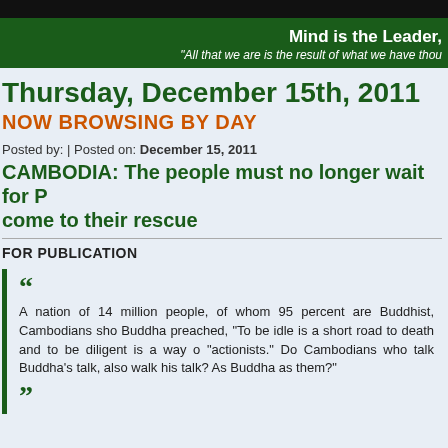Mind is the Leader,
"All that we are is the result of what we have thou
Thursday, December 15th, 2011
NOW BROWSING BY DAY
Posted by: | Posted on: December 15, 2011
CAMBODIA: The people must no longer wait for P come to their rescue
FOR PUBLICATION
A nation of 14 million people, of whom 95 percent are Buddhist, Cambodians sho Buddha preached, "To be idle is a short road to death and to be diligent is a way o "actionists." Do Cambodians who talk Buddha's talk, also walk his talk? As Buddha as them?"